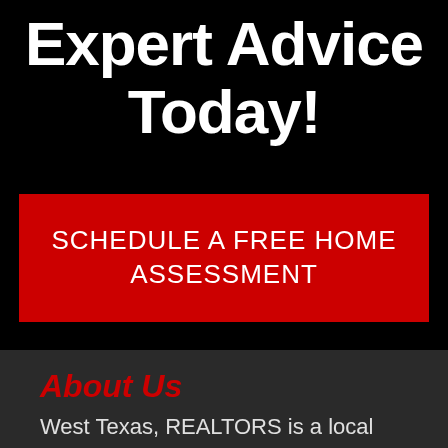Expert Advice Today!
SCHEDULE A FREE HOME ASSESSMENT
About Us
West Texas, REALTORS is a local